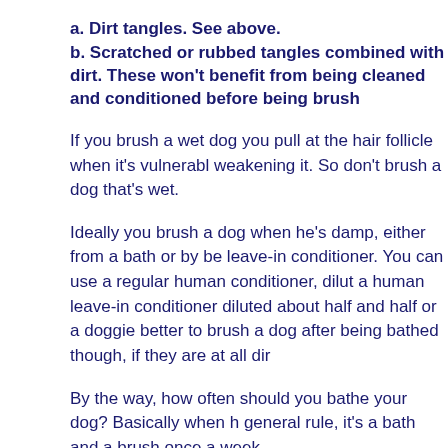a. Dirt tangles. See above.
b. Scratched or rubbed tangles combined with dirt. These won't benefit from being cleaned and conditioned before being brush
If you brush a wet dog you pull at the hair follicle when it's vulnerabl weakening it. So don't brush a dog that's wet.
Ideally you brush a dog when he's damp, either from a bath or by be leave-in conditioner. You can use a regular human conditioner, dilut a human leave-in conditioner diluted about half and half or a doggie better to brush a dog after being bathed though, if they are at all dir
By the way, how often should you bathe your dog? Basically when h general rule, it's a bath and a brush once a week.
So let's talk about bathing your dog. First of all you are absolutely ri different PH than human hair. Therefore you must never use human right? Well....
There are wonderful dog only shampoos and conditioners. I like a p
Coat Handler Clarifying Shampoo; it costs about $10.00 for the sha